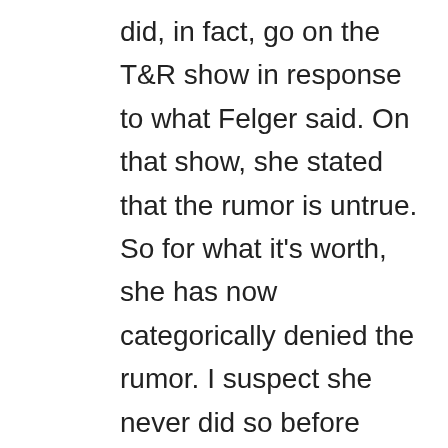did, in fact, go on the T&R show in response to what Felger said. On that show, she stated that the rumor is untrue. So for what it's worth, she has now categorically denied the rumor. I suspect she never did so before because a highly-rated talk radio show host had never brought it up on his show before–up until then it had merely been Internet trolls repeating it over and over, and I don't blame her for not responding to them, quite frankly. And really, Heidi's never